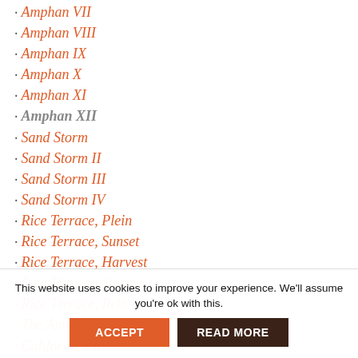Amphan VII
Amphan VIII
Amphan IX
Amphan X
Amphan XI
Amphan XII
Sand Storm
Sand Storm II
Sand Storm III
Sand Storm IV
Rice Terrace, Plein
Rice Terrace, Sunset
Rice Terrace, Harvest
Rice Terrace, Storm
Rice Terrace, Reflections
The American West Burns
California Fire I
California Fire II
California Fire III
This website uses cookies to improve your experience. We'll assume you're ok with this.
ACCEPT
READ MORE